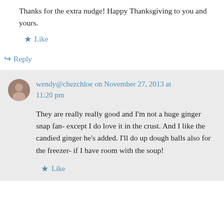Thanks for the extra nudge! Happy Thanksgiving to you and yours.
★ Like
↳ Reply
wendy@chezchloe on November 27, 2013 at 11:20 pm
They are really really good and I'm not a huge ginger snap fan- except I do love it in the crust. And I like the candied ginger he's added. I'll do up dough balls also for the freezer- if I have room with the soup!
★ Like